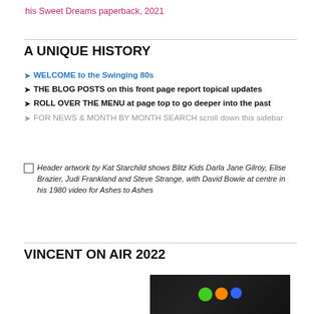his Sweet Dreams paperback, 2021
A UNIQUE HISTORY
WELCOME to the Swinging 80s
THE BLOG POSTS on this front page report topical updates
ROLL OVER THE MENU at page top to go deeper into the past
FOR NEWS & MONTH BY MONTH SEARCH scroll down this sidebar
Header artwork by Kat Starchild shows Blitz Kids Darla Jane Gilroy, Elise Brazier, Judi Frankland and Steve Strange, with David Bowie at centre in his 1980 video for Ashes to Ashes
VINCENT ON AIR 2022
[Figure (photo): Partial photo of a person or performance, dark background with colorful lighting (green, orange, blue)]